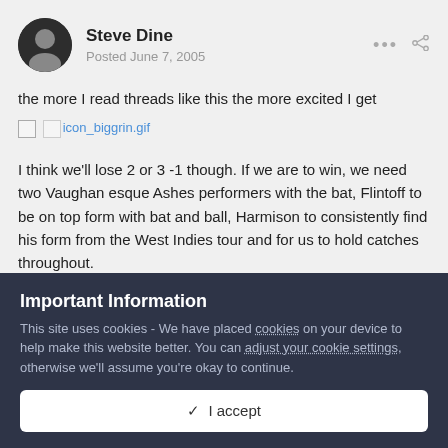Steve Dine
Posted June 7, 2005
the more I read threads like this the more excited I get
[Figure (other): icon_biggrin.gif emoji link]
I think we'll lose 2 or 3 -1 though. If we are to win, we need two Vaughan esque Ashes performers with the bat, Flintoff to be on top form with bat and ball, Harmison to consistently find his form from the West Indies tour and for us to hold catches throughout.
Important Information
This site uses cookies - We have placed cookies on your device to help make this website better. You can adjust your cookie settings, otherwise we'll assume you're okay to continue.
✓  I accept